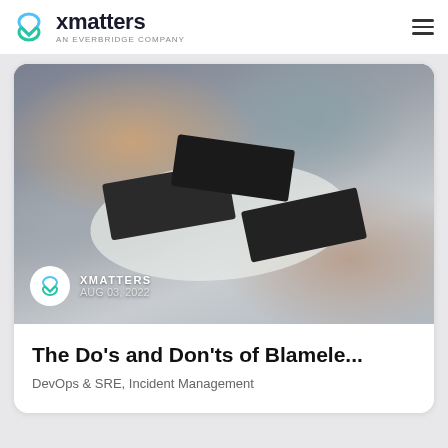xmatters AN EVERBRIDGE COMPANY
[Figure (photo): Overhead view of four people working on laptops around a round table, with one person using a smartphone. Date badge shows XMATTERS AUG 03, 2022.]
The Do’s and Don’ts of Blamele...
DevOps & SRE, Incident Management